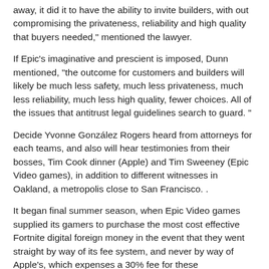away, it did it to have the ability to invite builders, with out compromising the privateness, reliability and high quality that buyers needed," mentioned the lawyer.
If Epic's imaginative and prescient is imposed, Dunn mentioned, “the outcome for customers and builders will likely be much less safety, much less privateness, much less reliability, much less high quality, fewer choices. All of the issues that antitrust legal guidelines search to guard. ”
Decide Yvonne González Rogers heard from attorneys for each teams, and also will hear testimonies from their bosses, Tim Cook dinner (Apple) and Tim Sweeney (Epic Video games), in addition to different witnesses in Oakland, a metropolis close to San Francisco. .
It began final summer season, when Epic Video games supplied its gamers to purchase the most cost effective Fortnite digital foreign money in the event that they went straight by way of its fee system, and never by way of Apple’s, which expenses a 30% fee for these